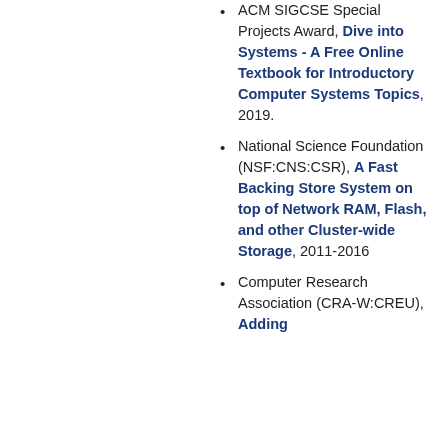ACM SIGCSE Special Projects Award, Dive into Systems - A Free Online Textbook for Introductory Computer Systems Topics, 2019.
National Science Foundation (NSF:CNS:CSR), A Fast Backing Store System on top of Network RAM, Flash, and other Cluster-wide Storage, 2011-2016
Computer Research Association (CRA-W:CREU), Adding...